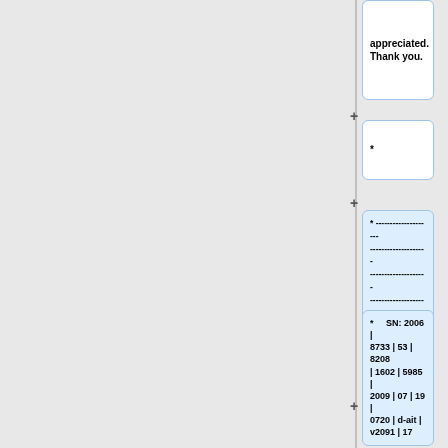appreciated. Thank you.
*
* -------------------- -------------------- -------------------- -------------------- -------------------- -------------------- ------------------| SN |-----
* SN: 2006 | 8733 | 53 | 8208 | 1602 | 5985 | 2009 | 07 | 19 | 0720 | d-ait | v2091 | 17
* -------------------- -------------------- --------------------